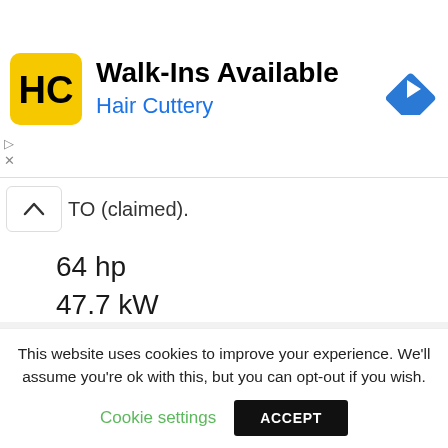[Figure (other): Hair Cuttery advertisement banner with logo, 'Walk-Ins Available' heading, and navigation icon]
TO (claimed):
64 hp
47.7 kW
Drawbar (tested):
53.84 hp
40.1 kW
This website uses cookies to improve your experience. We'll assume you're ok with this, but you can opt-out if you wish.
Cookie settings
ACCEPT